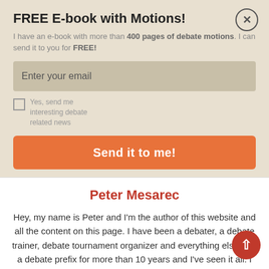FREE E-book with Motions!
I have an e-book with more than 400 pages of debate motions. I can send it to you for FREE!
Enter your email
Yes, send me interesting debate related news
Send it to me!
Peter Mesarec
Hey, my name is Peter and I'm the author of this website and all the content on this page. I have been a debater, a debate trainer, debate tournament organizer and everything else with a debate prefix for more than 10 years and I've seen it all. I want to help everyone to be a better debater and if you want to help too, please let me know. Keep on debating!